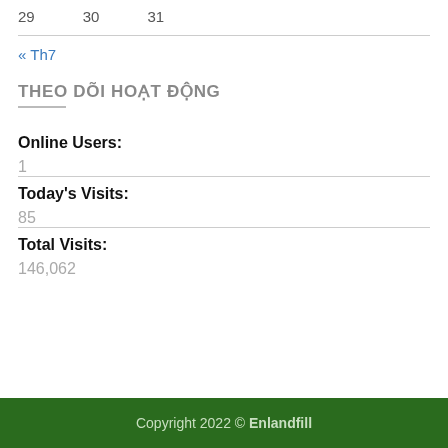29   30   31
« Th7
THEO DÕI HOẠT ĐỘNG
Online Users:
1
Today's Visits:
85
Total Visits:
146,062
Copyright 2022 © Enlandfill